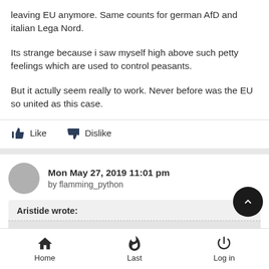leaving EU anymore. Same counts for german AfD and italian Lega Nord.
Its strange because i saw myself high above such petty feelings which are used to control peasants.
But it actully seem really to work. Never before was the EU so united as this case.
Like   Dislike
Mon May 27, 2019 11:01 pm
by flamming_python
Aristide wrote:
Home   Last   Log in